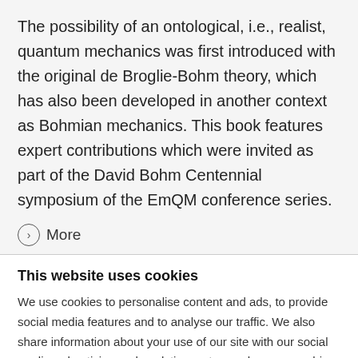The possibility of an ontological, i.e., realist, quantum mechanics was first introduced with the original de Broglie-Bohm theory, which has also been developed in another context as Bohmian mechanics. This book features expert contributions which were invited as part of the David Bohm Centennial symposium of the EmQM conference series.
More
This website uses cookies
We use cookies to personalise content and ads, to provide social media features and to analyse our traffic. We also share information about your use of our site with our social media, advertising and analytics partners who may combine it with other information that you've provided to them or that they've